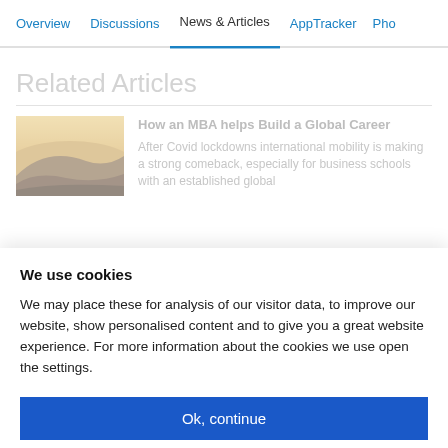Overview | Discussions | News & Articles | AppTracker | Pho...
Related Articles
[Figure (photo): Thumbnail image of a desert landscape with sand dunes and dark shadows]
How an MBA helps Build a Global Career
After Covid lockdowns international mobility is making a strong comeback, especially for business schools with an established global...
We use cookies
We may place these for analysis of our visitor data, to improve our website, show personalised content and to give you a great website experience. For more information about the cookies we use open the settings.
Ok, continue
Deny
No, adjust